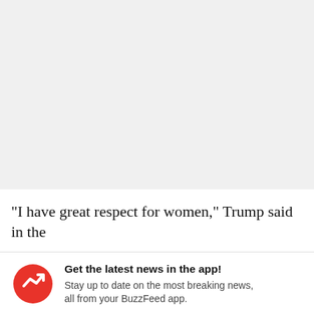[Figure (other): Gray placeholder area representing a blurred or loading content region at the top of the page]
"I have great respect for women," Trump said in the
Get the latest news in the app! Stay up to date on the most breaking news, all from your BuzzFeed app.
Maybe later
Get the app